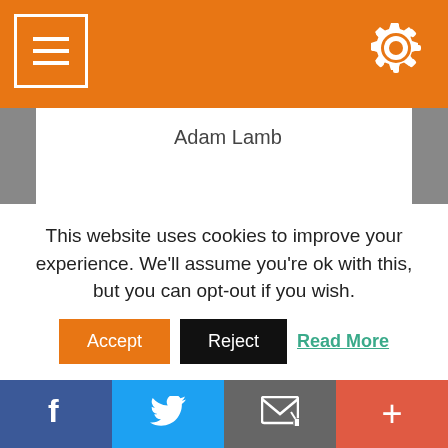Navigation bar with menu and settings icons
Adam Lamb
With a business model built to move with the times, we can raise a glass in celebration of the past 15 years, knowing the next 15 will be just as splendid! Who's with us? Cheers!
This website uses cookies to improve your experience. We'll assume you're ok with this, but you can opt-out if you wish.
Accept | Reject | Read More
Social sharing bar: Facebook, Twitter, Email, More